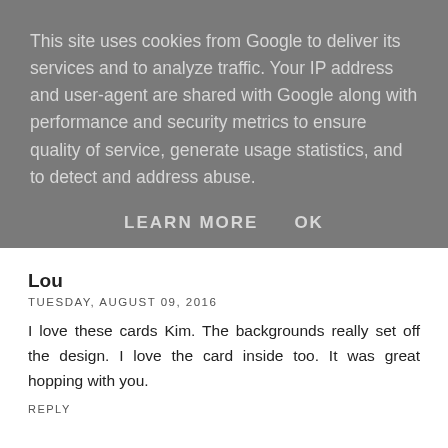This site uses cookies from Google to deliver its services and to analyze traffic. Your IP address and user-agent are shared with Google along with performance and security metrics to ensure quality of service, generate usage statistics, and to detect and address abuse.
LEARN MORE    OK
Lou
TUESDAY, AUGUST 09, 2016
I love these cards Kim. The backgrounds really set off the design. I love the card inside too. It was great hopping with you.
REPLY
Debbie Henderson Debbie's Designs
TUESDAY, AUGUST 09, 2016